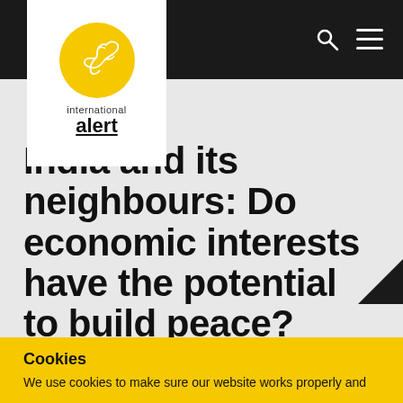[Figure (logo): International Alert logo: yellow circle with white dove outline, text 'international alert' below]
India and its neighbours: Do economic interests have the potential to build peace?
Published October 2007   ASIA,  NEPAL,  SRI LANKA
PEACE ECONOMIES
Cite    Share
Cookies
We use cookies to make sure our website works properly and